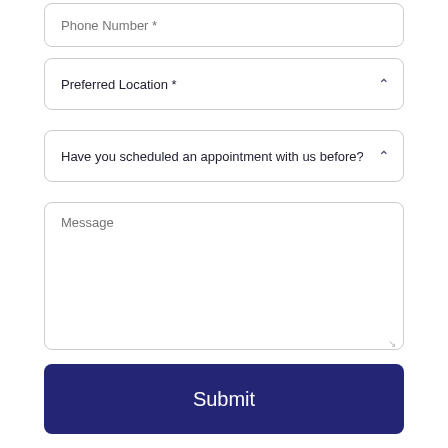Phone Number *
Preferred Location *
Have you scheduled an appointment with us before?
Message
Submit